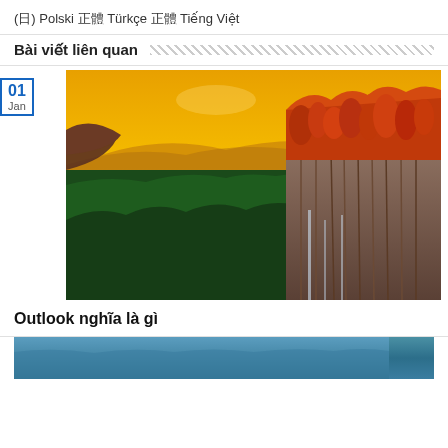(日) Polski 正體 Türkçe 正體 Tiếng Việt
Bài viết liên quan
[Figure (photo): Landscape photo showing a dramatic cliff with columnar basalt formations, dense green forest in a gorge below, a river winding in the background, and orange/red autumn trees along the clifftop under a vivid golden-yellow sunset sky.]
Outlook nghĩa là gì
[Figure (photo): Partial view of another article image at the bottom of the page, showing blue water tones.]